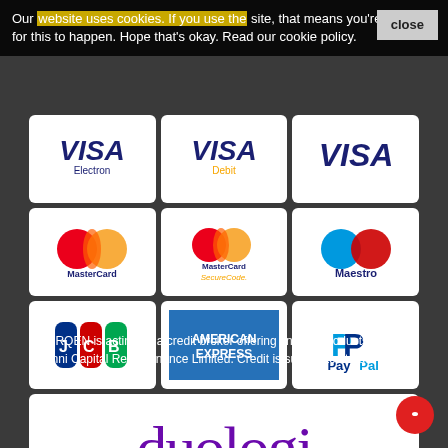Our website uses cookies. If you use the site, that means you're happy for this to happen. Hope that's okay. Read our cookie policy.
[Figure (logo): Payment logos grid: Visa Electron, Visa Debit, Visa, MasterCard, MasterCard SecureCode, Maestro, JCB, American Express, PayPal, Duologi]
TORQEN is acting as a credit broker offering finance products from Omni Capital Retail Finance Limited. Credit is subject to status.